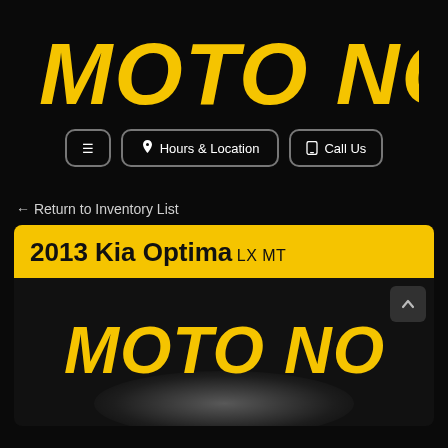[Figure (logo): MOTO NOW logo in bold italic yellow text on black background]
≡  Hours & Location  📱 Call Us
← Return to Inventory List
2013 Kia Optima LX MT
[Figure (logo): MOTO NOW logo watermark on dark background inside vehicle image box with glowing arc at bottom]